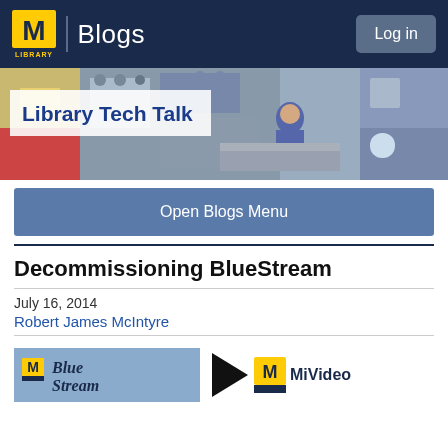M Library | Blogs   Log in
[Figure (photo): Banner image showing vintage computer room with person working; overlay box with blog title 'Library Tech Talk']
Open Blogs Menu
Decommissioning BlueStream
July 16, 2014
Robert James McIntyre
[Figure (logo): BlueStream logo (blue background with M logo and BlueStream text in cursive) next to MiVideo logo (black play arrow and M logo with MiVideo text)]